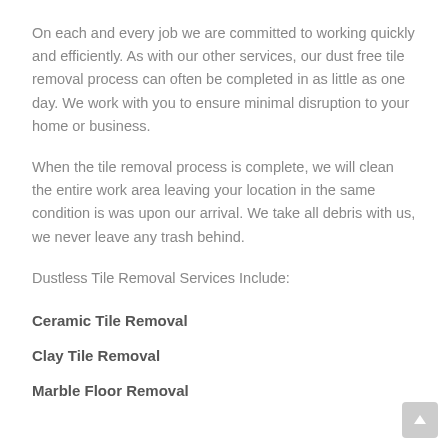On each and every job we are committed to working quickly and efficiently.  As with our other services, our dust free tile removal process can often be completed in as little as one day. We work with you to ensure minimal disruption to your home or business.
When the tile removal process is complete, we will clean the entire work area leaving your location in the same condition is was upon our arrival. We take all debris with us, we never leave any trash behind.
Dustless Tile Removal Services Include:
Ceramic Tile Removal
Clay Tile Removal
Marble Floor Removal